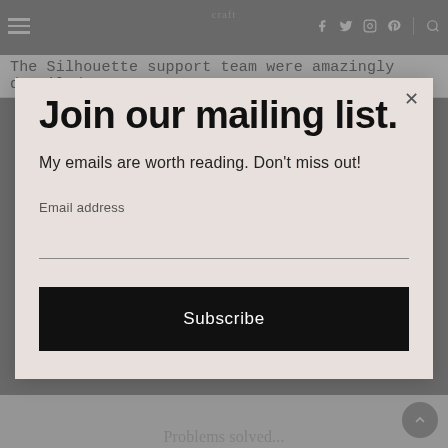The Silhouette support team were amazingly detailed
Join our mailing list.
My emails are worth reading. Don't miss out!
Email address
Subscribe
Problems solved...